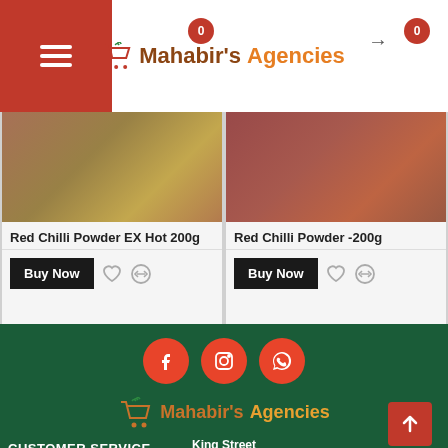Mahabir's Agencies - navigation bar with cart and menu
[Figure (screenshot): Red Chilli Powder EX Hot 200g product image - packaged spice product]
Red Chilli Powder EX Hot 200g
Buy Now
[Figure (screenshot): Red Chilli Powder -200g product image - packaged spice product]
Red Chilli Powder -200g
Buy Now
[Figure (infographic): Three red circle social media icons: Facebook (f), Instagram (camera), WhatsApp (phone)]
[Figure (logo): Mahabir's Agencies logo with shopping cart icon]
King Street
Bridgetown
Barbados
CUSTOMER SERVICE